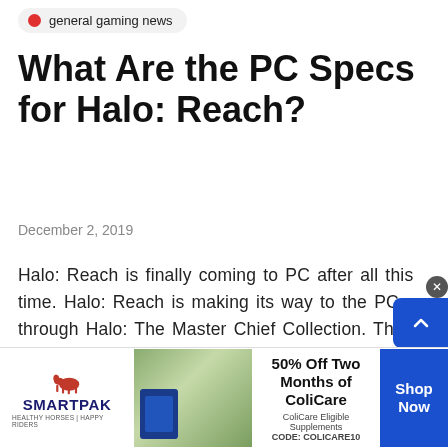general gaming news
What Are the PC Specs for Halo: Reach?
December 2, 2019
Halo: Reach is finally coming to PC after all this time. Halo: Reach is making its way to the PC through Halo: The Master Chief Collection. The...
[Figure (infographic): SmartPak advertisement banner: 50% Off Two Months of ColiCare, ColiCare Eligible Supplements, CODE: COLICARE10, Shop Now button]